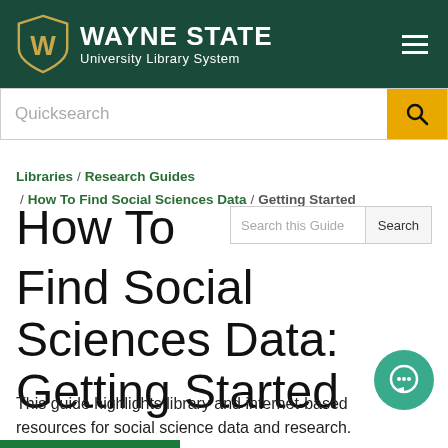WAYNE STATE University Library System
Quicksearch
Libraries / Research Guides / How To Find Social Sciences Data / Getting Started
How To Find Social Sciences Data: Getting Started
This guide highlights library and internet-based resources for social science data and research.